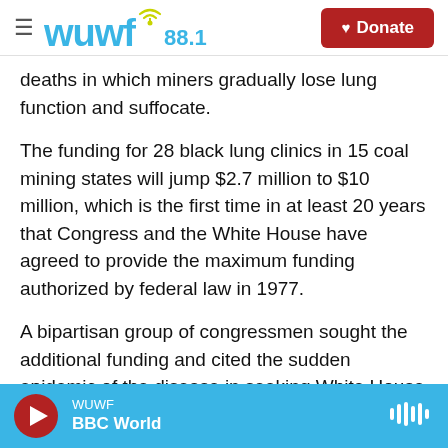WUWF 88.1 — Donate
deaths in which miners gradually lose lung function and suffocate.
The funding for 28 black lung clinics in 15 coal mining states will jump $2.7 million to $10 million, which is the first time in at least 20 years that Congress and the White House have agreed to provide the maximum funding authorized by federal law in 1977.
A bipartisan group of congressmen sought the additional funding and cited the sudden epidemic of the disease in seeking White House approval.
WUWF BBC World